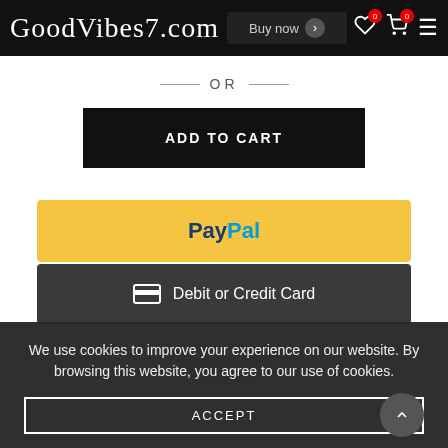GoodVibes7.com | Buy now
— OR —
ADD TO CART
[Figure (screenshot): PayPal payment button (yellow background with PayPal logo in blue text)]
[Figure (screenshot): Debit or Credit Card payment button (dark background with card icon)]
Add to Wishlist
We use cookies to improve your experience on our website. By browsing this website, you agree to our use of cookies.
ACCEPT